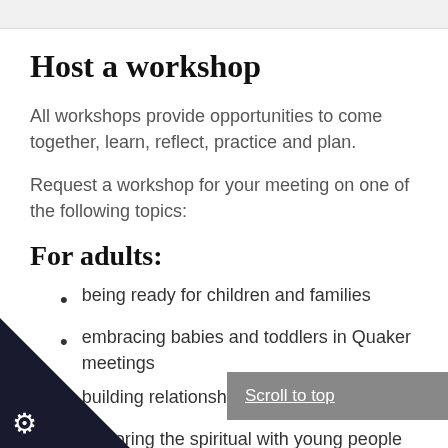Host a workshop
All workshops provide opportunities to come together, learn, reflect, practice and plan.
Request a workshop for your meeting on one of the following topics:
For adults:
being ready for children and families
embracing babies and toddlers in Quaker meetings
building relationships with children
exploring the spiritual with young people